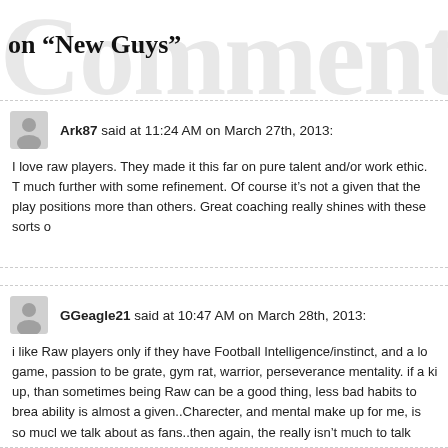Comments on “New Guys”
Ark87 said at 11:24 AM on March 27th, 2013:
I love raw players. They made it this far on pure talent and/or work ethic. They can go much further with some refinement. Of course it’s not a given that the play... positions more than others. Great coaching really shines with these sorts o...
GGeagle21 said at 10:47 AM on March 28th, 2013:
i like Raw players only if they have Football Intelligence/instinct, and a lo... game, passion to be grate, gym rat, warrior, perseverance mentality. if a ki... up, than sometimes being Raw can be a good thing, less bad habits to brea... ability is almost a given..Charecter, and mental make up for me, is so muc... we talk about as fans..then again, the really isn’t much to talk about becaus... interviews, and anything we know about their Charecter, is basiscally third... quit when it gets tough? Can he be broken down? Wll he play through inju... care about the game of football? how badly does he want to be great? Does...